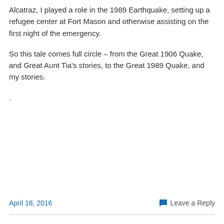Alcatraz, I played a role in the 1989 Earthquake, setting up a refugee center at Fort Mason and otherwise assisting on the first night of the emergency.
So this tale comes full circle – from the Great 1906 Quake, and Great Aunt Tia's stories, to the Great 1989 Quake, and my stories.
.
April 18, 2016    Leave a Reply